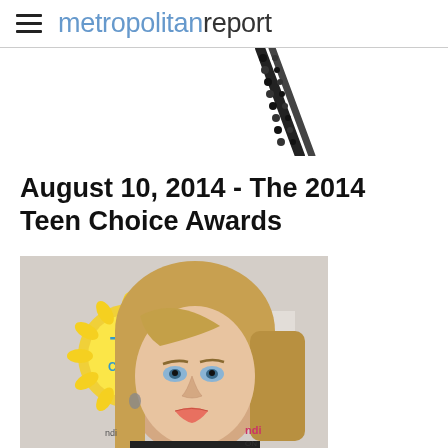metropolitan report
[Figure (photo): Partial view of a dark beaded or rhinestone hair accessory/necklace on white background]
August 10, 2014 - The 2014 Teen Choice Awards
[Figure (photo): Young woman with blonde hair and blue eyes at the 2014 Teen Choice Awards red carpet event, with Teen Choice Awards and FOX logos visible in the background]